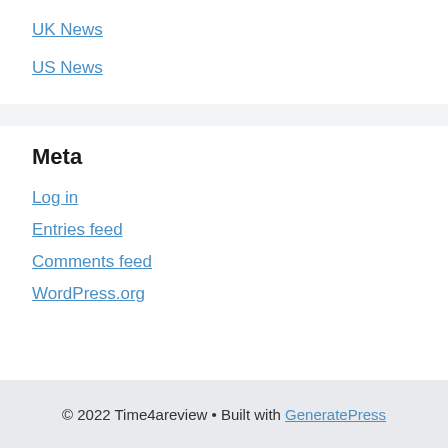UK News
US News
Meta
Log in
Entries feed
Comments feed
WordPress.org
© 2022 Time4areview • Built with GeneratePress